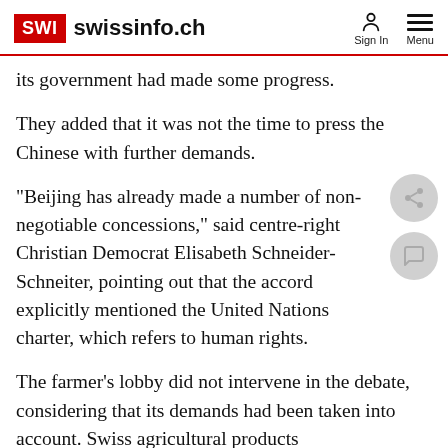SWI swissinfo.ch | Sign In | Menu
its government had made some progress.
They added that it was not the time to press the Chinese with further demands.
“Beijing has already made a number of non-negotiable concessions,” said centre-right Christian Democrat Elisabeth Schneider-Schneiter, pointing out that the accord explicitly mentioned the United Nations charter, which refers to human rights.
The farmer’s lobby did not intervene in the debate, considering that its demands had been taken into account. Swiss agricultural products